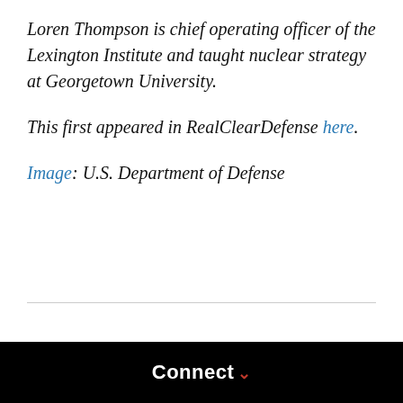Loren Thompson is chief operating officer of the Lexington Institute and taught nuclear strategy at Georgetown University.
This first appeared in RealClearDefense here.
Image: U.S. Department of Defense
Connect